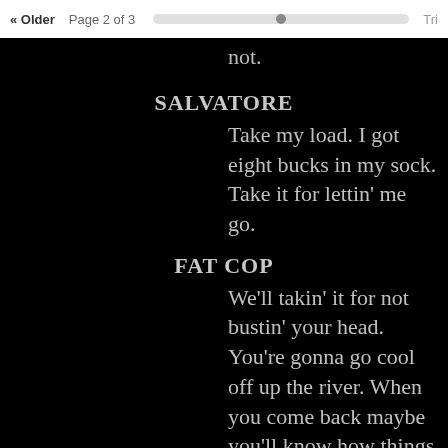« Older   Page 2 of 3
not.
SALVATORE
Take my load. I got eight bucks in my sock. Take it for lettin' me go.
FAT COP
We'll takin' it for not bustin' your head. You're gonna go cool off up the river. When you come back maybe you'll know how things work.
They jerk Salvatore to his feet and start to march him away. He cold, vengeful look toward Motchie.
SALVATORE